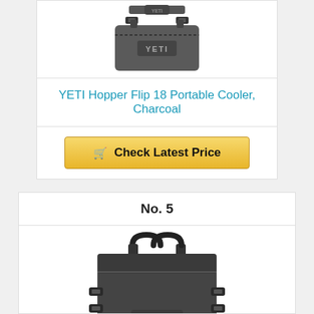[Figure (photo): Top portion of a YETI Hopper Flip 18 Portable Cooler in Charcoal color, showing the shoulder strap and top buckles]
YETI Hopper Flip 18 Portable Cooler, Charcoal
Check Latest Price
No. 5
[Figure (photo): YETI Hopper M30 soft-sided cooler tote bag in charcoal/dark gray color, showing carry handles, shoulder strap, side buckles, and YETI logo patches]